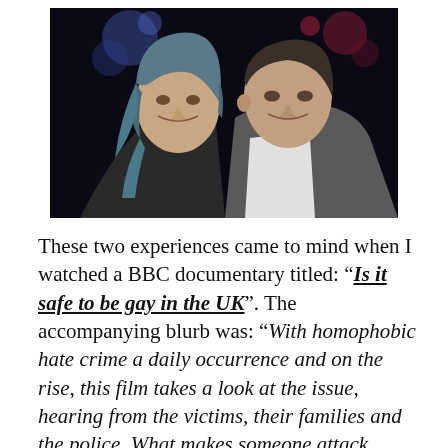[Figure (photo): Two young people posing together for a photo in a dark venue with bokeh lights in the background. The person on the left has blue-tinted hair and is wearing a sleeveless top; the person on the right has short hair and is wearing a grey hoodie over a white t-shirt.]
These two experiences came to mind when I watched a BBC documentary titled: “Is it safe to be gay in the UK”. The accompanying blurb was: “With homophobic hate crime a daily occurrence and on the rise, this film takes a look at the issue, hearing from the victims, their families and the police. What makes someone attack another person